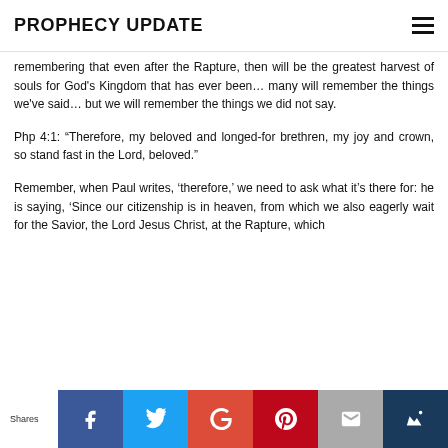PROPHECY UPDATE
remembering that even after the Rapture, then will be the greatest harvest of souls for God's Kingdom that has ever been… many will remember the things we've said… but we will remember the things we did not say.
Php 4:1: “Therefore, my beloved and longed-for brethren, my joy and crown, so stand fast in the Lord, beloved.”
Remember, when Paul writes, ‘therefore,’ we need to ask what it’s there for: he is saying, ‘Since our citizenship is in heaven, from which we also eagerly wait for the Savior, the Lord Jesus Christ, at the Rapture, which
Shares | Facebook | Twitter | Google+ | Pinterest | Email | Crown